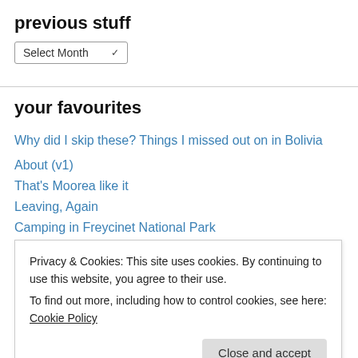previous stuff
Select Month
your favourites
Why did I skip these? Things I missed out on in Bolivia
About (v1)
That's Moorea like it
Leaving, Again
Camping in Freycinet National Park
The need to budget for health whilst travelling
Marooned: what the hell do I do now?!
Privacy & Cookies: This site uses cookies. By continuing to use this website, you agree to their use.
To find out more, including how to control cookies, see here: Cookie Policy
Close and accept